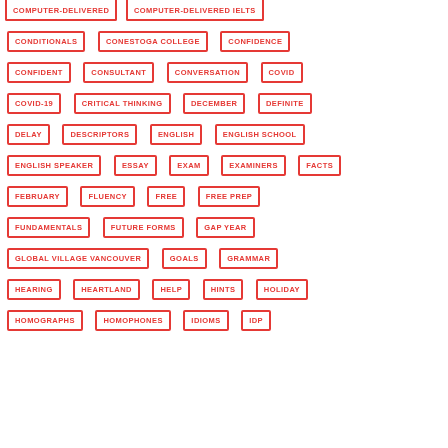COMPUTER-DELIVERED
COMPUTER-DELIVERED IELTS
CONDITIONALS
CONESTOGA COLLEGE
CONFIDENCE
CONFIDENT
CONSULTANT
CONVERSATION
COVID
COVID-19
CRITICAL THINKING
DECEMBER
DEFINITE
DELAY
DESCRIPTORS
ENGLISH
ENGLISH SCHOOL
ENGLISH SPEAKER
ESSAY
EXAM
EXAMINERS
FACTS
FEBRUARY
FLUENCY
FREE
FREE PREP
FUNDAMENTALS
FUTURE FORMS
GAP YEAR
GLOBAL VILLAGE VANCOUVER
GOALS
GRAMMAR
HEARING
HEARTLAND
HELP
HINTS
HOLIDAY
HOMOGRAPHS
HOMOPHONES
IDIOMS
IDP